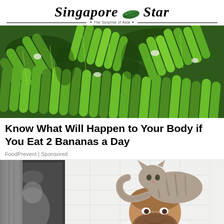Singapore Star — The Surprise of Asia
[Figure (photo): Close-up photo of bunches of green bananas filling the frame]
Know What Will Happen to Your Body if You Eat 2 Bananas a Day
FoodPrevent | Sponsored
[Figure (photo): Photo of a man in a bathroom with a cat sitting on his head/shoulders, white tile wall background with mirror]